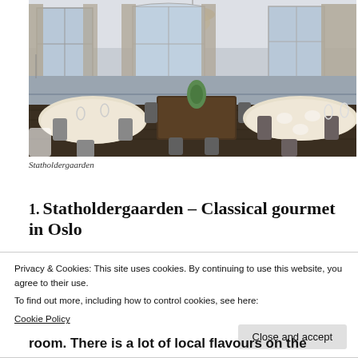[Figure (photo): Interior of Statholdergaarden restaurant: elegant dining room with white-clothed round tables, dark wood chairs, large windows with grey curtains, and a chandelier. Blue-grey walls and upscale setting.]
Statholdergaarden
1. Statholdergaarden – Classical gourmet in Oslo
Privacy & Cookies: This site uses cookies. By continuing to use this website, you agree to their use.
To find out more, including how to control cookies, see here:
Cookie Policy
Close and accept
room. There is a lot of local flavours on the